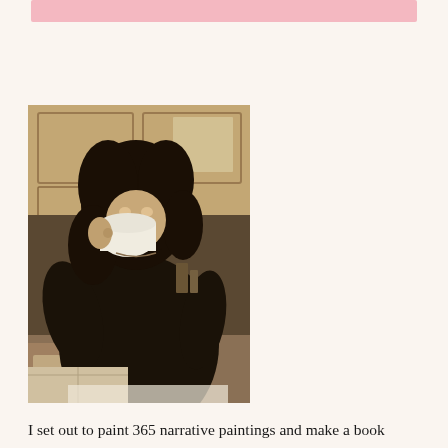[Figure (photo): Sepia-toned photograph of a woman with dark curly hair drinking from a white mug, standing in a kitchen with wooden cabinets, wearing a dark top.]
I set out to paint 365 narrative paintings and make a book